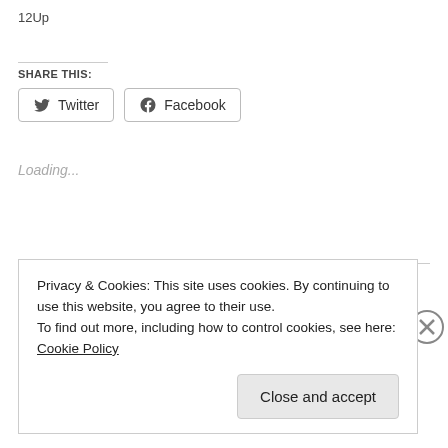12Up
SHARE THIS:
[Figure (other): Twitter and Facebook share buttons]
Loading...
PREVIOUS POST
Mr. Woodruff and the Three Wise Men
Privacy & Cookies: This site uses cookies. By continuing to use this website, you agree to their use.
To find out more, including how to control cookies, see here: Cookie Policy
Close and accept